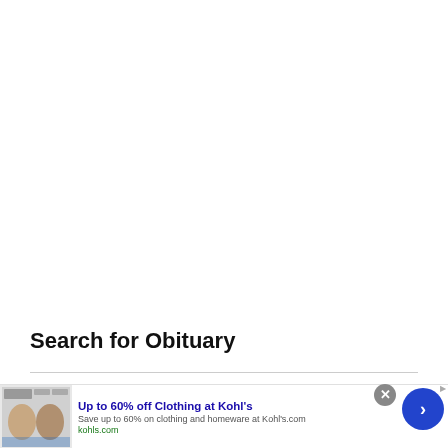Search for Obituary
[Figure (screenshot): Advertisement banner: 'Up to 60% off Clothing at Kohl's' with image of people, description text 'Save up to 60% on clothing and homeware at Kohl's.com', URL 'kohls.com', close button (X), and forward arrow button]